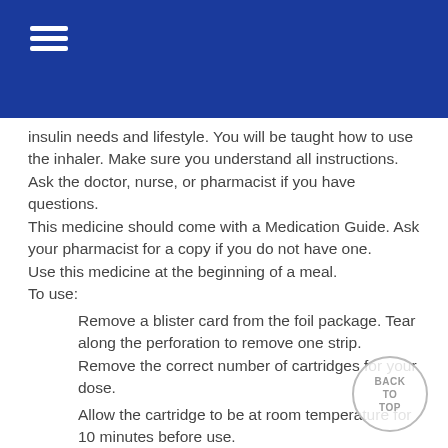insulin needs and lifestyle. You will be taught how to use the inhaler. Make sure you understand all instructions. Ask the doctor, nurse, or pharmacist if you have questions.
This medicine should come with a Medication Guide. Ask your pharmacist for a copy if you do not have one.
Use this medicine at the beginning of a meal.
To use:
Remove a blister card from the foil package. Tear along the perforation to remove one strip. Remove the correct number of cartridges for your dose.
Allow the cartridge to be at room temperature for 10 minutes before use.
After you insert a cartridge, keep the inhaler level